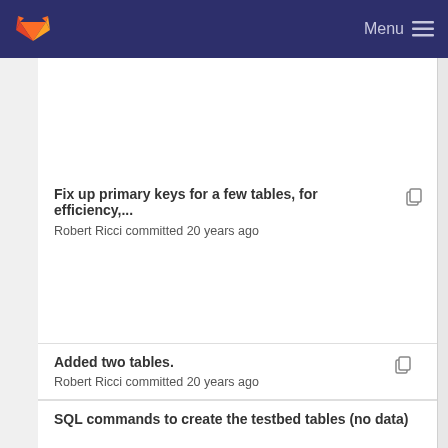Menu
Fix up primary keys for a few tables, for efficiency,... Robert Ricci committed 20 years ago
Added two tables. Robert Ricci committed 20 years ago
SQL commands to create the testbed tables (no data)